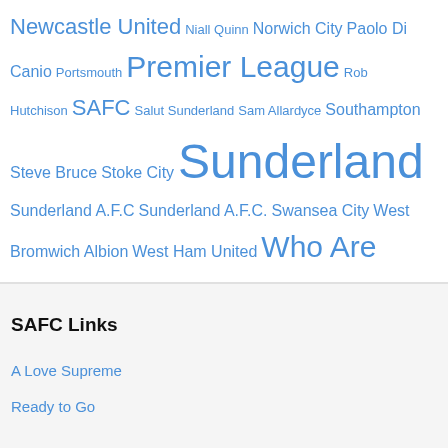Newcastle United Niall Quinn Norwich City Paolo Di Canio Portsmouth Premier League Rob Hutchison SAFC Salut Sunderland Sam Allardyce Southampton Steve Bruce Stoke City Sunderland Sunderland A.F.C Sunderland A.F.C. Swansea City West Bromwich Albion West Ham United Who Are You? Wolverhampton Wanderers
SAFC Links
A Love Supreme
Ready to Go